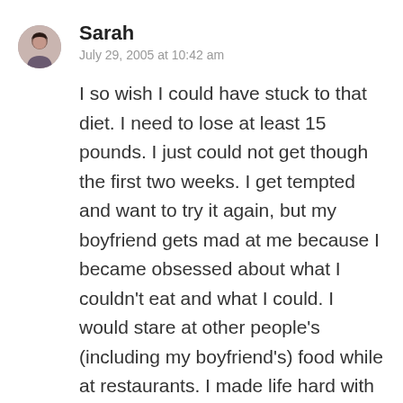Sarah
July 29, 2005 at 10:42 am
I so wish I could have stuck to that diet. I need to lose at least 15 pounds. I just could not get though the first two weeks. I get tempted and want to try it again, but my boyfriend gets mad at me because I became obsessed about what I couldn’t eat and what I could. I would stare at other people’s (including my boyfriend’s) food while at restaurants. I made life hard with that diet. But it does work though